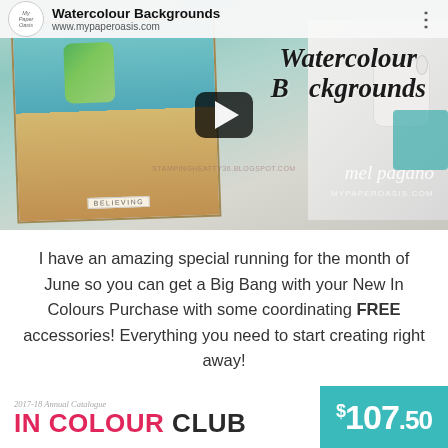[Figure (screenshot): YouTube video thumbnail for 'Watercolour Backgrounds' by My Paper Oasis. Shows a mermaid watercolour card artwork with teal background, a woman named mel pagano, website www.mypaperoasis.com, and a play button overlay.]
I have an amazing special running for the month of June so you can get a Big Bang with your New In Colours Purchase with some coordinating FREE accessories! Everything you need to start creating right away!
[Figure (infographic): Bottom banner showing '2017-18 Annual Catalogue IN COLOUR CLUB' in pink/red text on left, and '$107.50' in white text on teal background on right.]